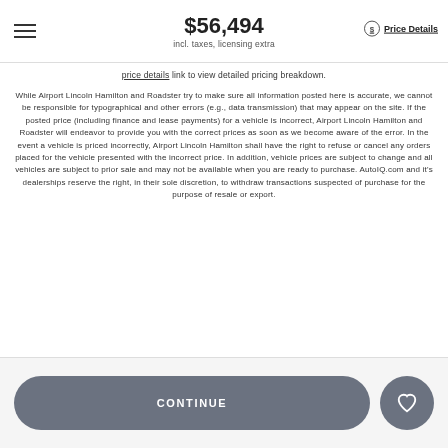$56,494 incl. taxes, licensing extra Price Details
price details link to view detailed pricing breakdown.
While Airport Lincoln Hamilton and Roadster try to make sure all information posted here is accurate, we cannot be responsible for typographical and other errors (e.g., data transmission) that may appear on the site. If the posted price (including finance and lease payments) for a vehicle is incorrect, Airport Lincoln Hamilton and Roadster will endeavor to provide you with the correct prices as soon as we become aware of the error. In the event a vehicle is priced incorrectly, Airport Lincoln Hamilton shall have the right to refuse or cancel any orders placed for the vehicle presented with the incorrect price. In addition, vehicle prices are subject to change and all vehicles are subject to prior sale and may not be available when you are ready to purchase. AutoIQ.com and it's dealerships reserve the right, in their sole discretion, to withdraw transactions suspected of purchase for the purpose of resale or export.